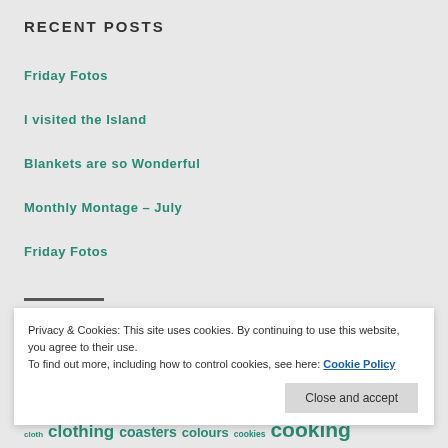RECENT POSTS
Friday Fotos
I visited the Island
Blankets are so Wonderful
Monthly Montage – July
Friday Fotos
Privacy & Cookies: This site uses cookies. By continuing to use this website, you agree to their use. To find out more, including how to control cookies, see here: Cookie Policy
Close and accept
cloth clothing coasters colours cookies cooking